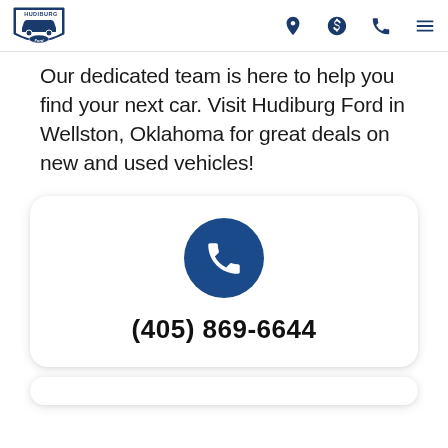Hudiburg Ford — navigation header with logo and icons
Our dedicated team is here to help you find your next car. Visit Hudiburg Ford in Wellston, Oklahoma for great deals on new and used vehicles!
[Figure (infographic): Contact card with a blue phone icon circle and phone number (405) 869-6644]
(405) 869-6644